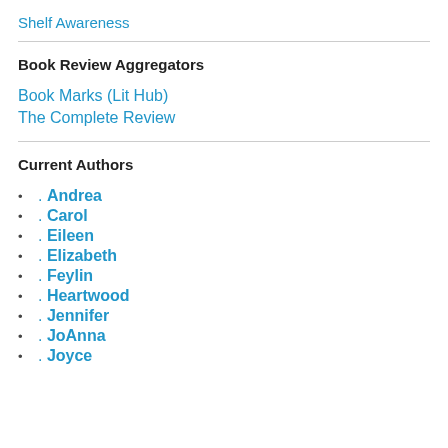Shelf Awareness
Book Review Aggregators
Book Marks (Lit Hub)
The Complete Review
Current Authors
. Andrea
. Carol
. Eileen
. Elizabeth
. Feylin
. Heartwood
. Jennifer
. JoAnna
. Joyce